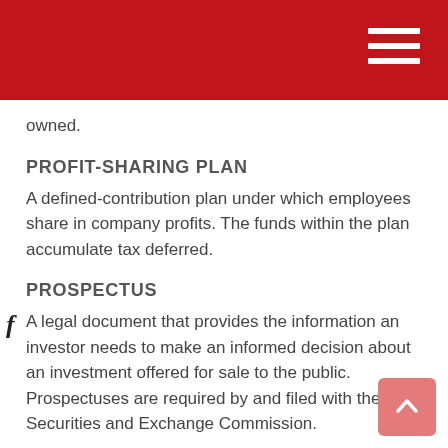owned.
PROFIT-SHARING PLAN
A defined-contribution plan under which employees share in company profits. The funds within the plan accumulate tax deferred.
PROSPECTUS
A legal document that provides the information an investor needs to make an informed decision about an investment offered for sale to the public. Prospectuses are required by and filed with the Securities and Exchange Commission.
QUALIFIED RETIREMENT PLAN
A retirement plan that is established and operates within the rules laid down in Section 401(a) of the